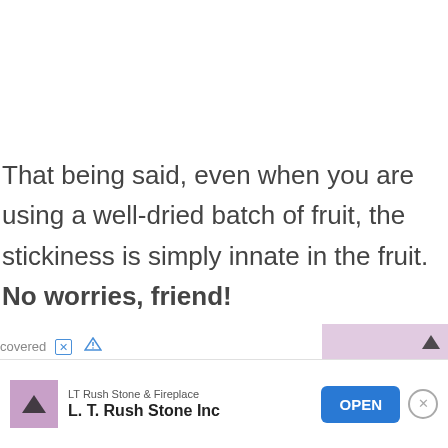That being said, even when you are using a well-dried batch of fruit, the stickiness is simply innate in the fruit. No worries, friend!
If you're turned off by the clumps, add 1/2 – 1 tsp of arrowroot powder(a healthy starch, similar to cornstarch) to the pile of fruit before blending, and it will go a long way to lessen clumping. We got
[Figure (screenshot): Advertisement banner for LT Rush Stone & Fireplace / L.T. Rush Stone Inc with an OPEN button]